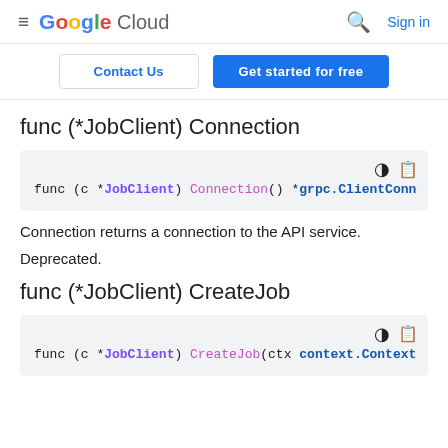Google Cloud — Sign in
Contact Us | Get started for free
func (*JobClient) Connection
[Figure (screenshot): Code block showing: func (c *JobClient) Connection() *grpc.ClientConn]
Connection returns a connection to the API service.
Deprecated.
func (*JobClient) CreateJob
[Figure (screenshot): Code block showing: func (c *JobClient) CreateJob(ctx context.Context]